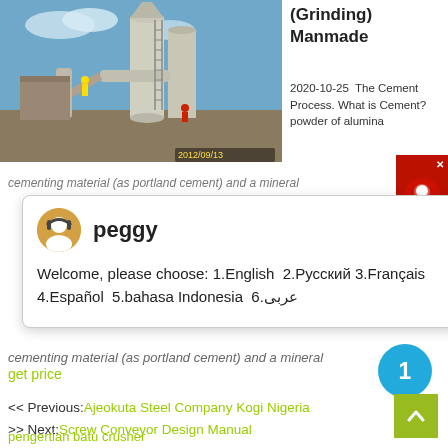[Figure (photo): Industrial grinding mill installation at a construction/cement site with large white cylindrical mill towers, piping, and workers visible. Photo timestamped 2012/09/13.]
(Grinding) Manmade
2020-10-25  The Cement Process. What is Cement? powder of alumina
cementing material (as portland cement) and a mineral
get price
[Figure (screenshot): Chat popup widget with avatar of agent named 'peggy' showing welcome message in multiple languages: Welcome, please choose: 1.English 2.Русский 3.Français 4.Español 5.bahasa Indonesia 6.عربى]
1
<< Previous:Ajeokuta Steel Company Kogi Nigeria
>> Next:Screw Conveyor Design Manual
pengertian batu crusher